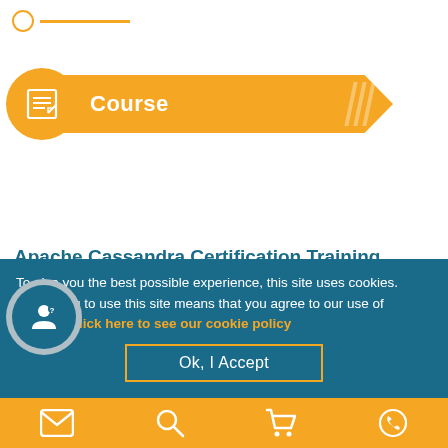[Figure (infographic): Orange progress bar with circle at start and line extending right]
Course
Introduction
Apache Cassandra Certification Training
The Cassandra Certification helps the delegates in improving their career opportunities and gain confidence in their
To give you the best possible experience, this site uses cookies. Continuing to use this site means that you agree to our use of cookies. Click here to see our cookie policy
[Figure (infographic): Ok, I Accept button with orange border]
[Figure (infographic): Bottom navigation bar with email, search, cart, and phone icons on orange background]